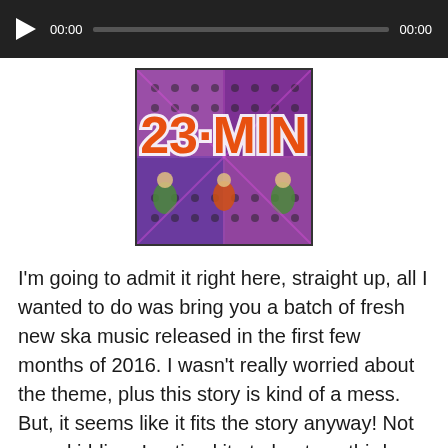[Figure (screenshot): Audio player bar with play button, timestamp 00:00, progress bar, and end time 00:00 on dark background]
[Figure (illustration): Comic book style album art showing '23 MIN' text in large orange letters with comic book characters in background]
I'm going to admit it right here, straight up, all I wanted to do was bring you a batch of fresh new ska music released in the first few months of 2016. I wasn't really worried about the theme, plus this story is kind of a mess. But, it seems like it fits the story anyway! Not even kidding, I noticed it at about my third listen through to make sure the episode was sounding good that a large amount of these songs do reflect the story, a bit more surface than usual